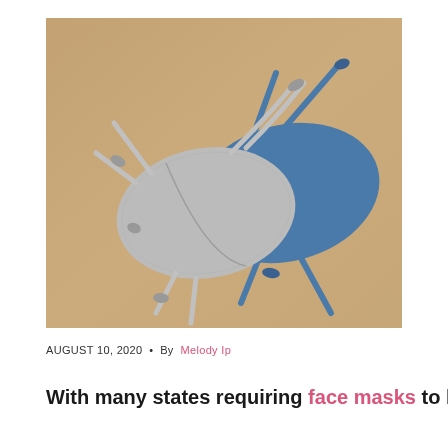[Figure (photo): Two fabric face masks with tie straps laid on a tan/brown surface. One mask is light grey and the other is blue, overlapping each other.]
AUGUST 10, 2020 • By Melody Ip
With many states requiring face masks to be worn in